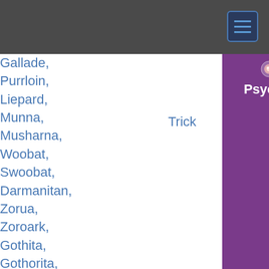| Pokémon | Move | Type | Category | — | 10 |
| --- | --- | --- | --- | --- | --- |
| Gallade, Purrloin, Liepard, Munna, Musharna, Woobat, Swoobat, Darmanitan, Zorua, Zoroark, Gothita, Gothorita, Gothitelle, Elgyem, Beheeyem, Braixen, Delphox, | Trick | Psychic | Status | — | 10 |